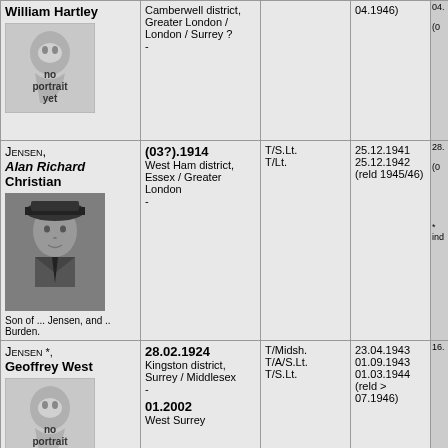| Name | Birth/Death | Rank | Dates | Ref |
| --- | --- | --- | --- | --- |
| William Hartley [no portrait yet] | Camberwell district, Greater London / London / Surrey ?
- | 04.1946) |  | 04.
(0 |
| Jensen, Alan Richard Christian [photo]
Son of ... Jensen, and .. Burden. | (03?).1914
West Ham district, Essex / Greater London
- | T/S.Lt.
T/Lt. | 25.12.1941
25.12.1942 (reld 1945/46) | 28.
(0
* ind |
| Jensen *, Geoffrey West [no portrait yet]
Son of Axel Palle Christian Jensen (1894-1984), and Mabelle Bailey (1894?
1886) | 28.02.1924
Kingston district, Surrey / Middlesex
-
01.2002
West Surrey | T/Midsh.
T/A/S.Lt.
T/S.Lt. | 23.04.1943
01.09.1943
01.03.1944 (reld > 07.1946) | 16. |